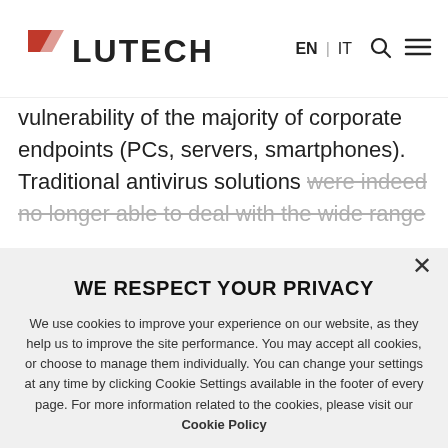LUTECH | EN | IT
vulnerability of the majority of corporate endpoints (PCs, servers, smartphones). Traditional antivirus solutions were indeed no longer able to deal with the wide range
WE RESPECT YOUR PRIVACY
We use cookies to improve your experience on our website, as they help us to improve the site performance. You may accept all cookies, or choose to manage them individually. You can change your settings at any time by clicking Cookie Settings available in the footer of every page. For more information related to the cookies, please visit our Cookie Policy
DECLINE ALL COOKIES
ALLOW ALL COOKIES
SHOW DETAILS